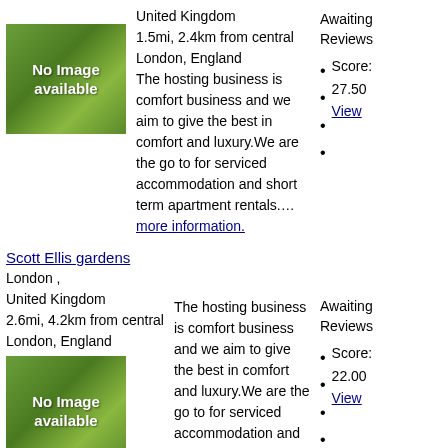[Figure (photo): No Image available placeholder with green landscape background]
United Kingdom
1.5mi, 2.4km from central London, England
The hosting business is comfort business and we aim to give the best in comfort and luxury.We are the go to for serviced accommodation and short term apartment rentals.... more information.
Awaiting Reviews
Score: 27.50
View
Scott Ellis gardens
London ,
United Kingdom
2.6mi, 4.2km from central London, England
The hosting business is comfort business and we aim to give the best in comfort and luxury.We are the go to for serviced accommodation and short term apartment rentals.... more information.
[Figure (photo): No Image available placeholder with green landscape background]
Awaiting Reviews
Score: 22.00
View
whitechapel Grand
tower hamlets ,